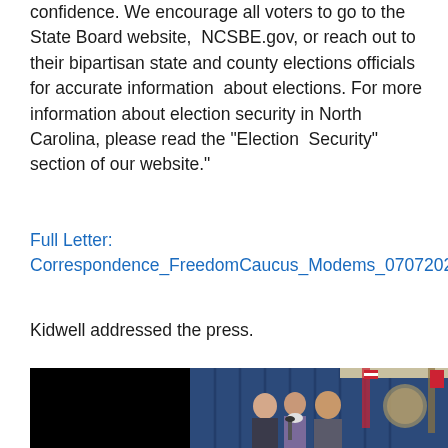confidence. We encourage all voters to go to the State Board website,  NCSBE.gov, or reach out to their bipartisan state and county elections officials for accurate information  about elections. For more information about election security in North Carolina, please read the “Election  Security” section of our website.”
Full Letter:
Correspondence_FreedomCaucus_Modems_07072021
Kidwell addressed the press.
[Figure (photo): Photo of three men standing at a podium in front of blue curtains and flags, including an American flag and a North Carolina state flag, with a state seal visible on the wall. They appear to be at a press conference.]